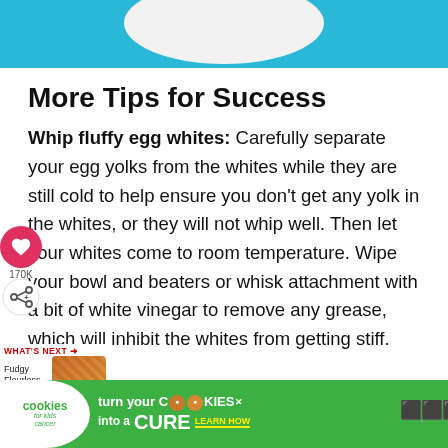[Figure (photo): Top portion of a food photo on a light blue background with a white plate partially visible]
More Tips for Success
Whip fluffy egg whites: Carefully separate your egg yolks from the whites while they are still cold to help ensure you don't get any yolk in the whites, or they will not whip well. Then let your whites come to room temperature. Wipe your bowl and beaters or whisk attachment with a bit of white vinegar to remove any grease, which will inhibit the whites from getting stiff.
[Figure (infographic): UI overlay: heart/love button with 170K count and share button]
[Figure (infographic): What's Next promo: Fudgy Flourless... with food thumbnail image]
[Figure (infographic): Advertisement banner: cookies for kids cancer - turn your COOKIES into a CURE LEARN HOW]